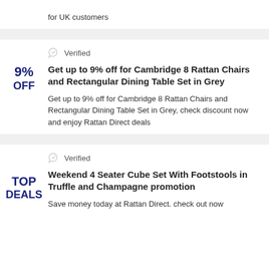for UK customers
Verified
Get up to 9% off for Cambridge 8 Rattan Chairs and Rectangular Dining Table Set in Grey
9%
OFF
Get up to 9% off for Cambridge 8 Rattan Chairs and Rectangular Dining Table Set in Grey, check discount now and enjoy Rattan Direct deals
Verified
Weekend 4 Seater Cube Set With Footstools in Truffle and Champagne promotion
TOP
DEALS
Save money today at Rattan Direct. check out now